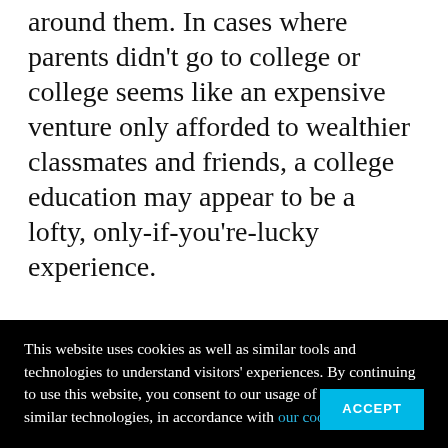around them. In cases where parents didn't go to college or college seems like an expensive venture only afforded to wealthier classmates and friends, a college education may appear to be a lofty, only-if-you're-lucky experience.
Here's where, and why, educators fill a crucial void in the lives and trajectories of their students. Elementary teachers are well-positioned to facilitate the type of self-
This website uses cookies as well as similar tools and technologies to understand visitors' experiences. By continuing to use this website, you consent to our usage of cookies and similar technologies, in accordance with our cookie policy.